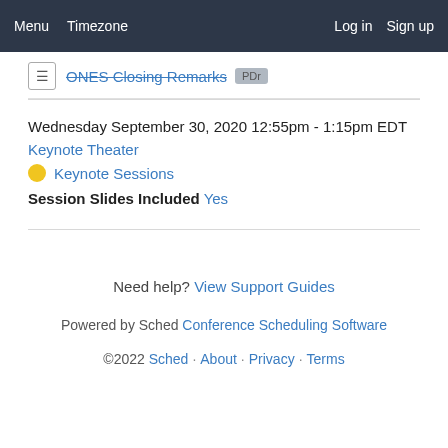Menu  Timezone  Log in  Sign up
ONES Closing Remarks  PDr
Wednesday September 30, 2020 12:55pm - 1:15pm EDT
Keynote Theater
Keynote Sessions
Session Slides Included Yes
Need help? View Support Guides
Powered by Sched Conference Scheduling Software
©2022 Sched · About · Privacy · Terms